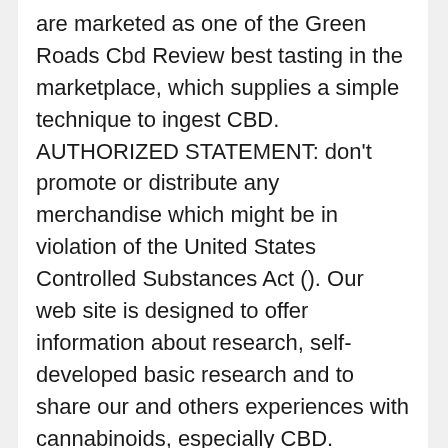are marketed as one of the Green Roads Cbd Review best tasting in the marketplace, which supplies a simple technique to ingest CBD. AUTHORIZED STATEMENT: don't promote or distribute any merchandise which might be in violation of the United States Controlled Substances Act (). Our web site is designed to offer information about research, self-developed basic research and to share our and others experiences with cannabinoids, especially CBD.
We've split our review into two sections. First, we'll discuss the pros. These are all the optimistic options of Inexperienced Road's CBD products. After this, we'll look into the cons and the potential downsides. Moreover, those green roads inc who have a clinical downside or having a medicine should not